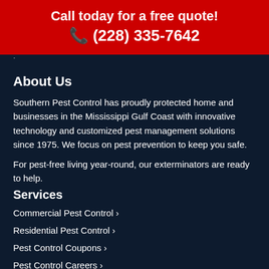Call today for a free quote!
📞 (228) 335-7642
About Us
Southern Pest Control has proudly protected home and businesses in the Mississippi Gulf Coast with innovative technology and customized pest management solutions since 1975. We focus on pest prevention to keep you safe.
For pest-free living year-round, our exterminators are ready to help.
Services
Commercial Pest Control ›
Residential Pest Control ›
Pest Control Coupons ›
Pest Control Careers ›
Ratings